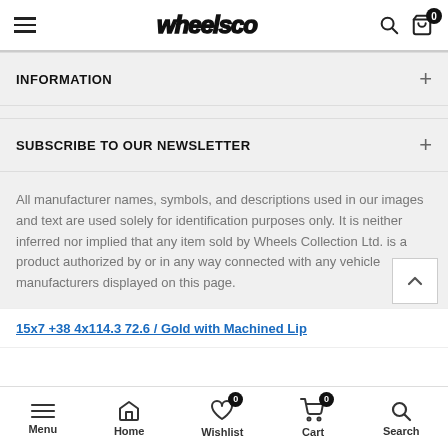wheelsco — navigation header with menu, logo, search and cart
INFORMATION
SUBSCRIBE TO OUR NEWSLETTER
All manufacturer names, symbols, and descriptions used in our images and text are used solely for identification purposes only. It is neither inferred nor implied that any item sold by Wheels Collection Ltd. is a product authorized by or in any way connected with any vehicle manufacturers displayed on this page.
15x7 +38 4x114.3 72.6 / Gold with Machined Lip
Menu | Home | Wishlist 0 | Cart 0 | Search